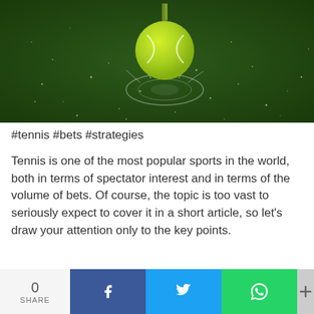[Figure (photo): A yellow-green tennis ball bouncing on a dark green court surface with water droplets and splash rings visible around it]
#tennis #bets #strategies
Tennis is one of the most popular sports in the world, both in terms of spectator interest and in terms of the volume of bets. Of course, the topic is too vast to seriously expect to cover it in a short article, so let's draw your attention only to the key points.
[Figure (infographic): Social share bar with 0 SHARE count, Facebook, Twitter, WhatsApp, and more (+) buttons]